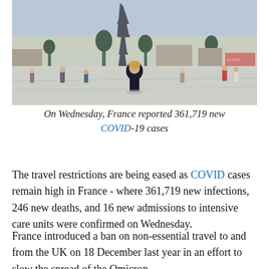[Figure (photo): Outdoor scene near the Eiffel Tower in Paris. People walking in an open plaza. A woman in a dark coat stands in the center foreground. The Eiffel Tower and trees are visible in the background.]
On Wednesday, France reported 361,719 new COVID-19 cases
The travel restrictions are being eased as COVID cases remain high in France - where 361,719 new infections, 246 new deaths, and 16 new admissions to intensive care units were confirmed on Wednesday.
France introduced a ban on non-essential travel to and from the UK on 18 December last year in an effort to slow the spread of the Omicron variant.